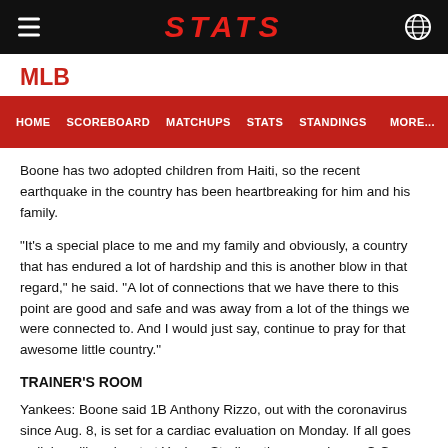STATS
MLB
HOME   SCOREBOARD   MATCHUPS   STATS   STANDINGS   MORE...
Boone has two adopted children from Haiti, so the recent earthquake in the country has been heartbreaking for him and his family.
"It's a special place to me and my family and obviously, a country that has endured a lot of hardship and this is another blow in that regard," he said. "A lot of connections that we have there to this point are good and safe and was away from a lot of the things we were connected to. And I would just say, continue to pray for that awesome little country."
TRAINER'S ROOM
Yankees: Boone said 1B Anthony Rizzo, out with the coronavirus since Aug. 8, is set for a cardiac evaluation on Monday. If all goes well, he will work out at Yankee Stadium the same day. ... C Gary Sanchez, on the COVID-19 list since Aug. 5, is working out at Double-A Somerset.
White Sox: Utilityman Leury Garcia was placed on the seven-day concussion list, and INF Danny Mendick was recalled from Triple-A Charlotte. Garcia injured himself trying to catch Giancarlo Stanton's hit in the ninth inning on Sunday.